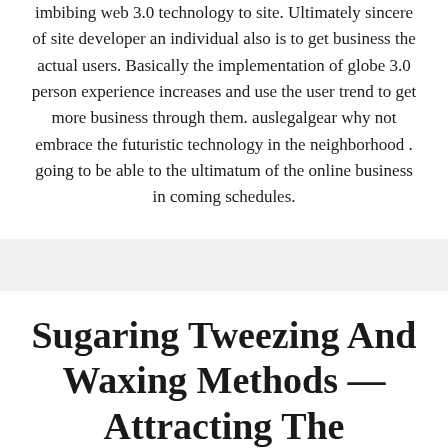imbibing web 3.0 technology to site. Ultimately sincere of site developer an individual also is to get business the actual users. Basically the implementation of globe 3.0 person experience increases and use the user trend to get more business through them. auslegalgear why not embrace the futuristic technology in the neighborhood . going to be able to the ultimatum of the online business in coming schedules.
Sugaring Tweezing And Waxing Methods — Attracting The Outcomes